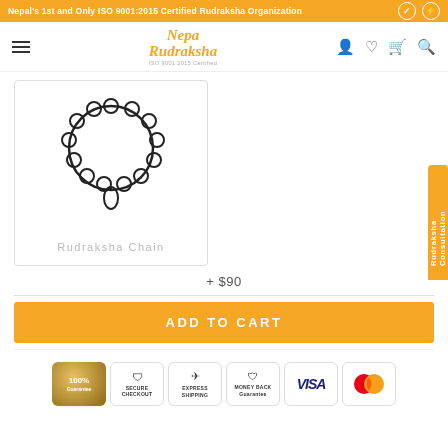Nepal's 1st and Only ISO 9001:2015 Certified Rudraksha Organization
[Figure (logo): Nepa Rudraksha logo with ISO 9001:2015 Certified text]
[Figure (illustration): Rudraksha Chain product image - circular bead bracelet/chain outline]
Rudraksha Chain
+ $90
ADD TO CART
[Figure (infographic): Trust badges row: 100% Guarantee, Secure Checkout, Express Shipping, Money Back Guarantee, Visa, Mastercard]